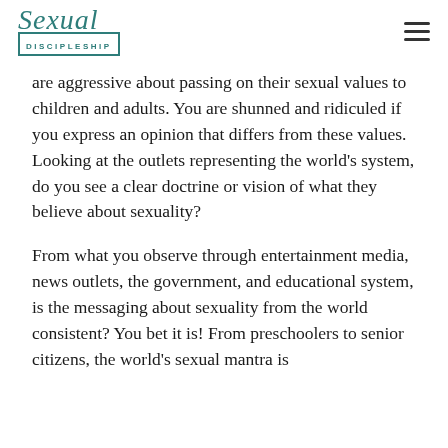Sexual Discipleship
are aggressive about passing on their sexual values to children and adults. You are shunned and ridiculed if you express an opinion that differs from these values. Looking at the outlets representing the world’s system, do you see a clear doctrine or vision of what they believe about sexuality?
From what you observe through entertainment media, news outlets, the government, and educational system, is the messaging about sexuality from the world consistent? You bet it is! From preschoolers to senior citizens, the world’s sexual mantra is